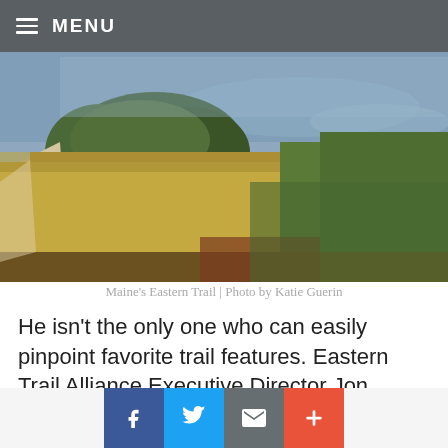≡ MENU
[Figure (photo): A gravel trail running alongside tall golden grasses with a water body and green shrubs in the background — Maine's Eastern Trail]
Maine's Eastern Trail | Photo by Katie Guerin
He isn't the only one who can easily pinpoint favorite trail features. Eastern Trail Alliance Executive Director Jon Kachmar loves the stretch